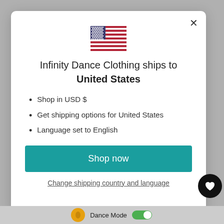[Figure (illustration): US flag emoji/icon centered at top of modal]
Infinity Dance Clothing ships to United States
Shop in USD $
Get shipping options for United States
Language set to English
Shop now
Change shipping country and language
Dance Mode